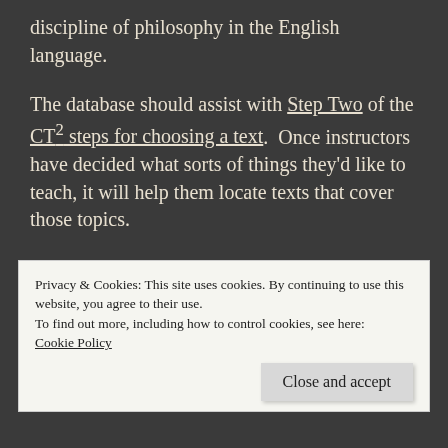discipline of philosophy in the English language.
The database should assist with Step Two of the CT² steps for choosing a text.  Once instructors have decided what sorts of things they'd like to teach, it will help them locate texts that cover those topics.
The analysis proceeds, left to right:
Privacy & Cookies: This site uses cookies. By continuing to use this website, you agree to their use.
To find out more, including how to control cookies, see here:
Cookie Policy
Close and accept